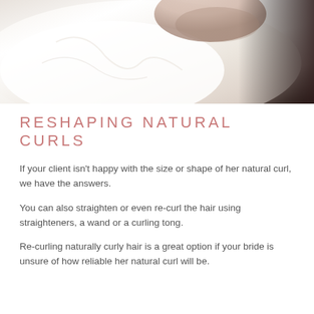[Figure (photo): Close-up photo of a person wearing a white garment, likely showing a shoulder/neck area, with dark background on the right side. Appears to be a hair styling or beauty context.]
RESHAPING NATURAL CURLS
If your client isn’t happy with the size or shape of her natural curl, we have the answers.
You can also straighten or even re-curl the hair using straighteners, a wand or a curling tong.
Re-curling naturally curly hair is a great option if your bride is unsure of how reliable her natural curl will be.